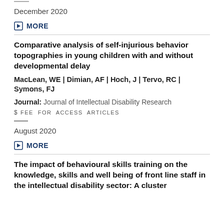December 2020
MORE
Comparative analysis of self-injurious behavior topographies in young children with and without developmental delay
MacLean, WE | Dimian, AF | Hoch, J | Tervo, RC | Symons, FJ
Journal: Journal of Intellectual Disability Research
FEE FOR ACCESS ARTICLES
August 2020
MORE
The impact of behavioural skills training on the knowledge, skills and well being of front line staff in the intellectual disability sector: A cluster